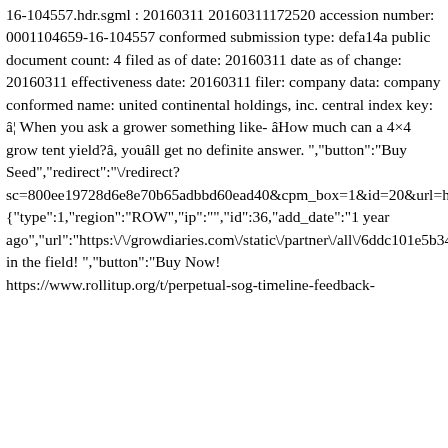16-104557.hdr.sgml : 20160311 20160311172520 accession number: 0001104659-16-104557 conformed submission type: defa14a public document count: 4 filed as of date: 20160311 date as of change: 20160311 effectiveness date: 20160311 filer: company data: company conformed name: united continental holdings, inc. central index key: â¦ When you ask a grower something like- âHow much can a 4×4 grow tent yield?â, youâll get no definite answer. ","button":"Buy Seed","redirect":"\/redirect?sc=800ee19728d6e8e70b65adbbd60ead40&cpm_box=1&id=20&url=https%3A%2F%2Fwww.exoticseed.eu%2Fcontact","id_user":6396,"is_enable":1}, {"type":1,"region":"ROW","ip":"","id":36,"add_date":"1 year ago","url":"https:\/\/growdiaries.com\/static\/partner\/all\/6ddc101e5b3437a8bdb854d75314f8c8.jpg","link":"https:\/\/www.eliteseeds.com","title":"Specialists in the field! ","button":"Buy Now! https://www.rollitup.org/t/perpetual-sog-timeline-feedback-